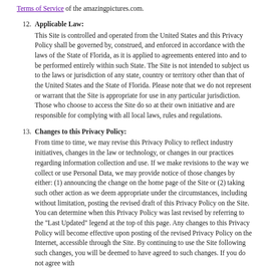Terms of Service of the amazingpictures.com.
12. Applicable Law: This Site is controlled and operated from the United States and this Privacy Policy shall be governed by, construed, and enforced in accordance with the laws of the State of Florida, as it is applied to agreements entered into and to be performed entirely within such State. The Site is not intended to subject us to the laws or jurisdiction of any state, country or territory other than that of the United States and the State of Florida. Please note that we do not represent or warrant that the Site is appropriate for use in any particular jurisdiction. Those who choose to access the Site do so at their own initiative and are responsible for complying with all local laws, rules and regulations.
13. Changes to this Privacy Policy: From time to time, we may revise this Privacy Policy to reflect industry initiatives, changes in the law or technology, or changes in our practices regarding information collection and use. If we make revisions to the way we collect or use Personal Data, we may provide notice of those changes by either: (1) announcing the change on the home page of the Site or (2) taking such other action as we deem appropriate under the circumstances, including without limitation, posting the revised draft of this Privacy Policy on the Site. You can determine when this Privacy Policy was last revised by referring to the "Last Updated" legend at the top of this page. Any changes to this Privacy Policy will become effective upon posting of the revised Privacy Policy on the Internet, accessible through the Site. By continuing to use the Site following such changes, you will be deemed to have agreed to such changes. If you do not agree with